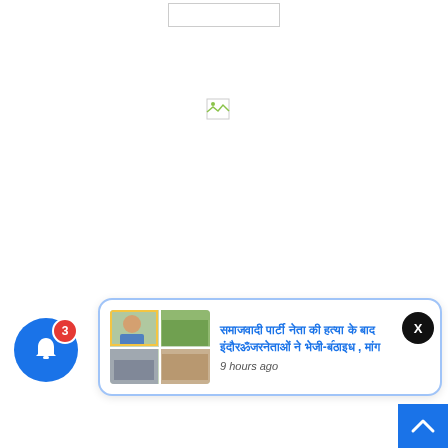[Figure (screenshot): A broken image placeholder rectangle at the top center of the page]
[Figure (screenshot): A small broken image icon below the top placeholder]
[Figure (screenshot): Circular close (X) button in dark/black, positioned top-right of notification area]
[Figure (screenshot): Blue circular notification bell icon with red badge showing '3']
[Figure (screenshot): News notification card with thumbnail image collage and Hindi text headline and '9 hours ago' timestamp]
[Figure (screenshot): Blue scroll-to-top button at bottom right corner]